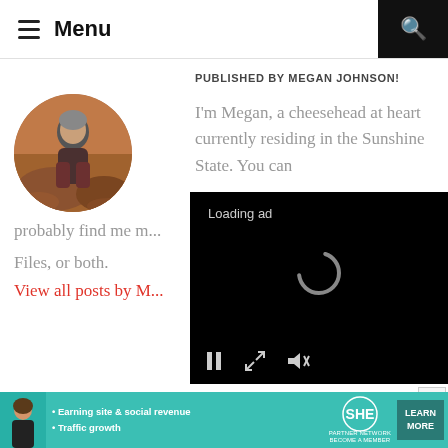Menu
PUBLISHED BY MEGAN JOHNSON!
[Figure (photo): Circular profile photo of Megan Johnson sitting on rocks outdoors]
I'm Megan, a cheesehead at heart currently residing in the Sunshine State. You can probably find me m... Files, or both.
View all posts by M...
[Figure (screenshot): Video ad overlay with Loading ad text, spinner, and playback controls (pause, expand, mute)]
[Figure (infographic): Bottom banner advertisement: SHE Partner Network - Earning site & social revenue, Traffic growth - LEARN MORE]